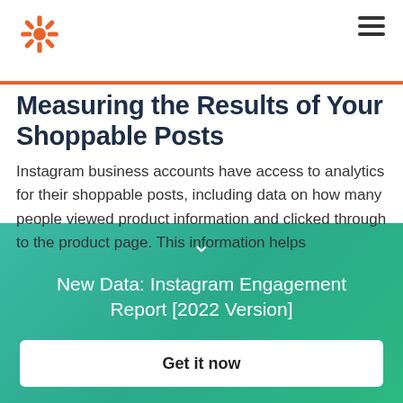[Figure (logo): HubSpot sprocket logo in orange/red]
[Figure (other): Hamburger menu icon (three horizontal lines)]
Measuring the Results of Your Shoppable Posts
Instagram business accounts have access to analytics for their shoppable posts, including data on how many people viewed product information and clicked through to the product page. This information helps
New Data: Instagram Engagement Report [2022 Version]
Get it now